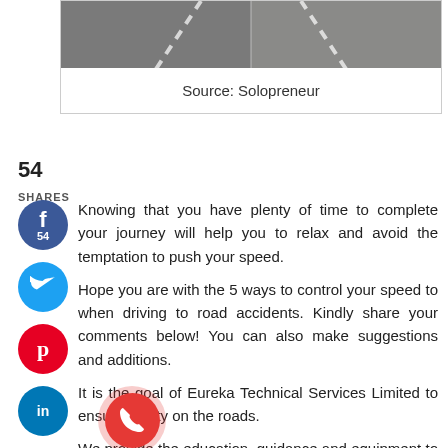[Figure (photo): Aerial/road view split image showing tarmac road surfaces]
Source: Solopreneur
54
SHARES
[Figure (infographic): Social sharing sidebar with Facebook (54), Twitter, Pinterest, LinkedIn, Email, and Phone buttons]
Knowing that you have plenty of time to complete your journey will help you to relax and avoid the temptation to push your speed.

Hope you are with the 5 ways to control your speed to when driving to road accidents. Kindly share your comments below! You can also make suggestions and additions.

It is the goal of Eureka Technical Services Limited to ensure safety on the roads.

We provide the education, guidance and equipment to ensure...